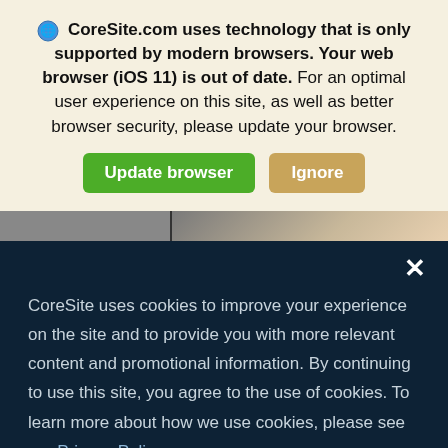CoreSite.com uses technology that is only supported by modern browsers. Your web browser (iOS 11) is out of date. For an optimal user experience on this site, as well as better browser security, please update your browser.
[Figure (screenshot): Two buttons: green 'Update browser' and tan/gold 'Ignore']
[Figure (photo): Partial photo strip showing two panels — a darker left section and a lighter right section with part of a person visible]
CoreSite uses cookies to improve your experience on the site and to provide you with more relevant content and promotional information. By continuing to use this site, you agree to the use of cookies. To learn more about how we use cookies, please see our Privacy Policy.